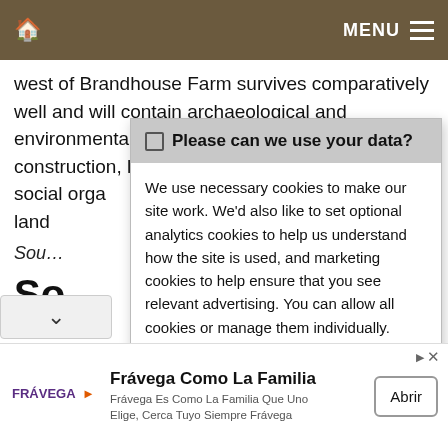MENU
west of Brandhouse Farm survives comparatively well and will contain archaeological and environmental evidence relating to its construction, longevity, territorial significance, social orga… land…
Sou…
So…
Other…
Past…
☐ Please can we use your data?

We use necessary cookies to make our site work. We'd also like to set optional analytics cookies to help us understand how the site is used, and marketing cookies to help ensure that you see relevant advertising. You can allow all cookies or manage them individually. More information
[Figure (infographic): Advertisement banner for Frávega Como La Familia with logo, tagline text and Abrir button]